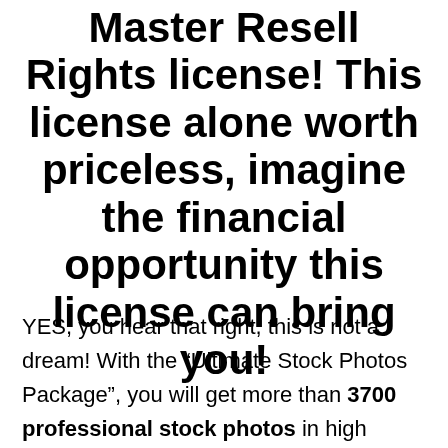Master Resell Rights license! This license alone worth priceless, imagine the financial opportunity this license can bring you!
YES, you hear that right, this is not a dream! With the “Ultimate Stock Photos Package”, you will get more than 3700 professional stock photos in high resolution format that are organized into